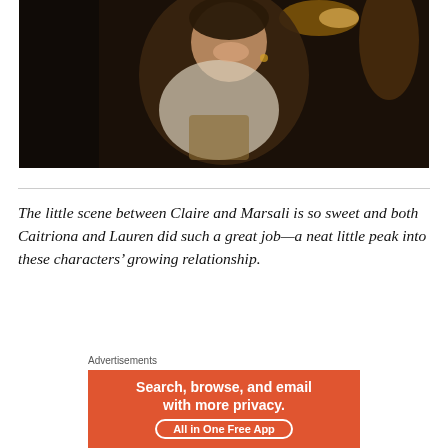[Figure (photo): A woman in period costume (corset and white blouse with scarf) smiling in a dark, warmly lit interior scene.]
The little scene between Claire and Marsali is so sweet and both Caitriona and Lauren did such a great job—a neat little peak into these characters' growing relationship.
Advertisements
[Figure (other): Advertisement banner on orange background: 'Search, browse, and email with more privacy. All in One Free App']